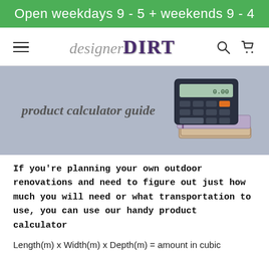Open weekdays 9 - 5 + weekends 9 - 4
[Figure (logo): designerDIRT logo with hamburger menu icon, search icon, and cart icon in navigation bar]
[Figure (photo): Hero banner with light blue-grey background showing 'product calculator guide' text in italic bold and a photo of a calculator stacked on notebooks on the right side]
If you're planning your own outdoor renovations and need to figure out just how much you will need or what transportation to use, you can use our handy product calculator